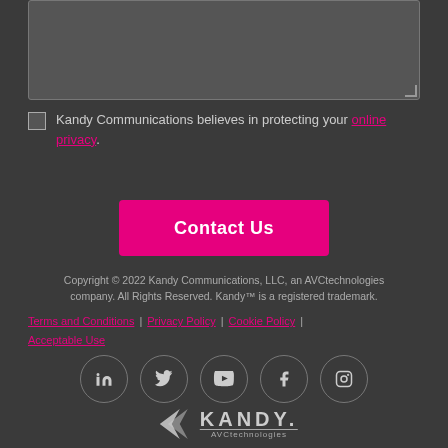[Figure (screenshot): Textarea input box with resize handle]
Kandy Communications believes in protecting your online privacy.
[Figure (other): Contact Us button (pink/magenta)]
Copyright © 2022 Kandy Communications, LLC, an AVCtechnologies company. All Rights Reserved. Kandy™ is a registered trademark.
Terms and Conditions | Privacy Policy | Cookie Policy | Acceptable Use
[Figure (other): Social media icons row: LinkedIn, Twitter, YouTube, Facebook, Instagram]
[Figure (logo): Kandy AVCtechnologies logo with chevron arrow icon]